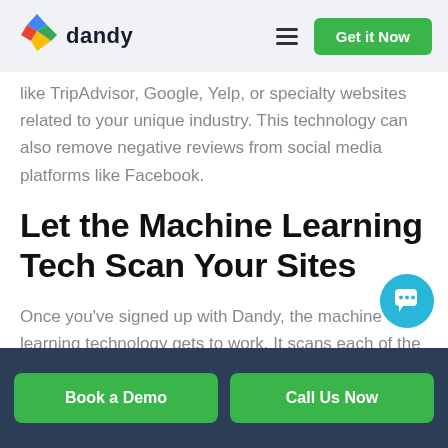dandy — Get it Now
like TripAdvisor, Google, Yelp, or specialty websites related to your unique industry. This technology can also remove negative reviews from social media platforms like Facebook.
Let the Machine Learning Tech Scan Your Sites
Once you've signed up with Dandy, the machine learning technology gets to work. It scans each of the negative reviews that your business has received on various review sites. During this st…
Book a Demo   Call Us Now